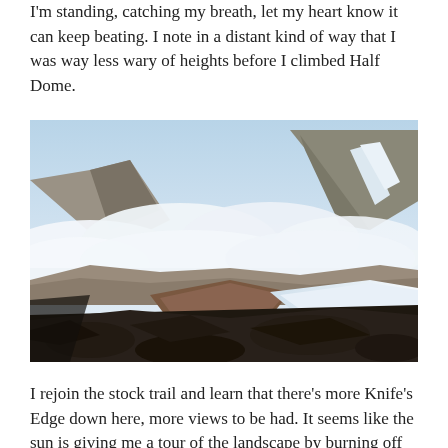I'm standing, catching my breath, let my heart know it can keep beating. I note in a distant kind of way that I was way less wary of heights before I climbed Half Dome.
[Figure (photo): Aerial mountain landscape photograph showing rocky peaks emerging above a sea of white clouds, with patches of snow visible on the ridgeline and foreground rocky terrain in shadow.]
I rejoin the stock trail and learn that there's more Knife's Edge down here, more views to be had. It seems like the sun is giving me a tour of the landscape by burning off only